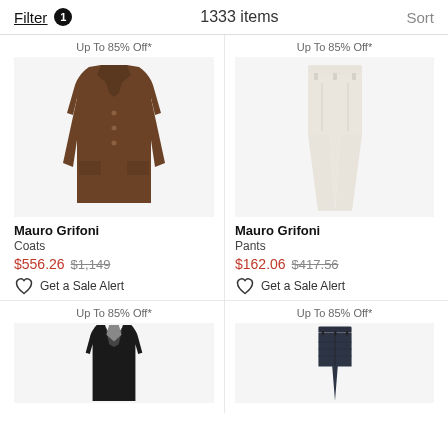Filter 1   1333 items   Sort
Up To 85% Off*
[Figure (photo): Brown wool overcoat by Mauro Grifoni]
Mauro Grifoni
Coats
$556.26 $1,149
Get a Sale Alert
Up To 85% Off*
[Figure (photo): Cream/off-white slim trousers by Mauro Grifoni]
Mauro Grifoni
Pants
$162.06 $417.56
Get a Sale Alert
Up To 85% Off*
[Figure (photo): Black blazer/jacket by Mauro Grifoni (partially visible)]
Up To 85% Off*
[Figure (photo): Dark denim jeans (partially visible)]